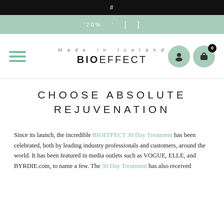#
'20%'  [  ]
[Figure (logo): BIOEFFECT logo with hamburger menu, user icon, and cart icon with badge 0]
CHOOSE ABSOLUTE REJUVENATION
Since its launch, the incredible BIOEFFECT 30 Day Treatment has been celebrated, both by leading industry professionals and customers, around the world. It has been featured in media outlets such as VOGUE, ELLE, and BYRDIE.com, to name a few. The 30 Day Treatment has also received